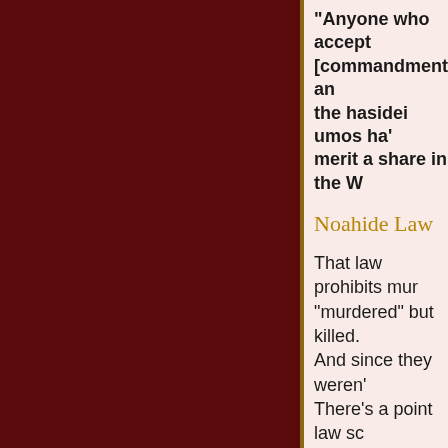"Anyone who accept [commandments] an the hasidei umos ha' merit a share in the W
Noahide Law
That law prohibits mur "murdered" but killed. And since they weren' There's a point law sc
Oy-Vey
Tuesday, October
Scroll to Top
Anonymous said...